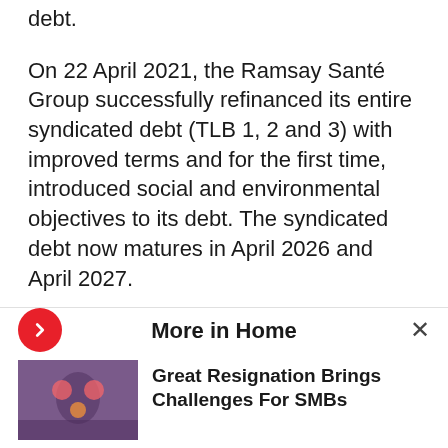debt.
On 22 April 2021, the Ramsay Santé Group successfully refinanced its entire syndicated debt (TLB 1, 2 and 3) with improved terms and for the first time, introduced social and environmental objectives to its debt. The syndicated debt now matures in April 2026 and April 2027.
The Group complies with all commitments relating to the financial documentation in place. The application of IFRS 16 has no effect on the methods used to calculate the
More in Home
Great Resignation Brings Challenges For SMBs